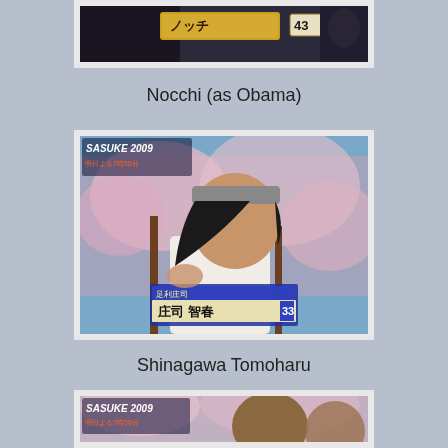[Figure (screenshot): TV screenshot of Nocchi dressed as Obama, SASUKE 2009 overlay, number 43 shown]
Nocchi (as Obama)
[Figure (screenshot): TV screenshot of Shinagawa Tomoharu wearing headband, cherry blossoms background, SASUKE 2009 overlay, nameplate showing 庄司 智春 33]
Shinagawa Tomoharu
[Figure (screenshot): TV screenshot of another contestant, SASUKE 2009 overlay, cherry blossoms background, partially visible]